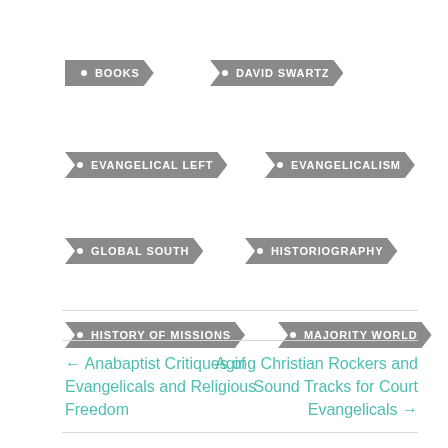BOOKS
DAVID SWARTZ
EVANGELICAL LEFT
EVANGELICALISM
GLOBAL SOUTH
HISTORIOGRAPHY
HISTORY OF MISSIONS
MAJORITY WORLD
← Anabaptist Critiques of Evangelicals and Religious Freedom
Aging Christian Rockers and Sound Tracks for Court Evangelicals →